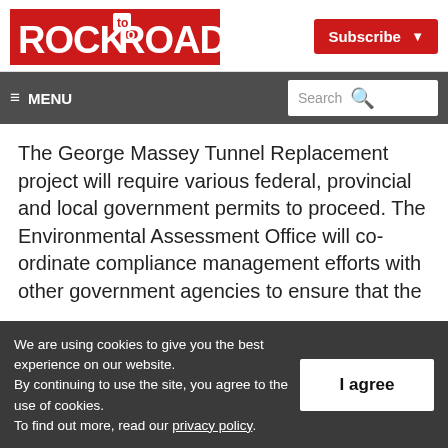[Figure (logo): Rock to Road magazine logo – white text on red background]
Subscribe ▾
≡ MENU    Search 🔍
The George Massey Tunnel Replacement project will require various federal, provincial and local government permits to proceed. The Environmental Assessment Office will co-ordinate compliance management efforts with other government agencies to ensure that the
We are using cookies to give you the best experience on our website.
By continuing to use the site, you agree to the use of cookies.
To find out more, read our privacy policy.